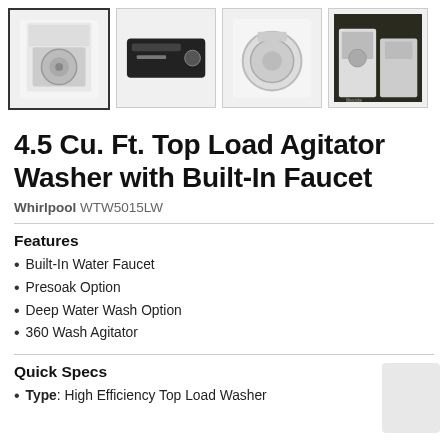[Figure (photo): Product image gallery showing 4 thumbnail images of a Whirlpool top load washer: front view (selected/highlighted), top control panel view, front-facing circular door view, and a lifestyle/in-use photo.]
4.5 Cu. Ft. Top Load Agitator Washer with Built-In Faucet
Whirlpool WTW5015LW
Features
Built-In Water Faucet
Presoak Option
Deep Water Wash Option
360 Wash Agitator
Quick Specs
Type: High Efficiency Top Load Washer